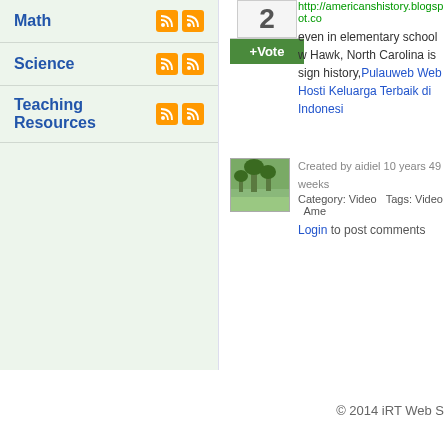Math
Science
Teaching Resources
http://americanshistory.blogspot.co... even in elementary school w... Hawk, North Carolina is sign... history, Pulauweb Web Hosti... Keluarga Terbaik di Indonesi...
[Figure (photo): Thumbnail image of a landscape with palm trees]
Created by aidiel 10 years 49 weeks
Category: Video   Tags: Video  Ame...
Login to post comments
© 2014 iRT Web S